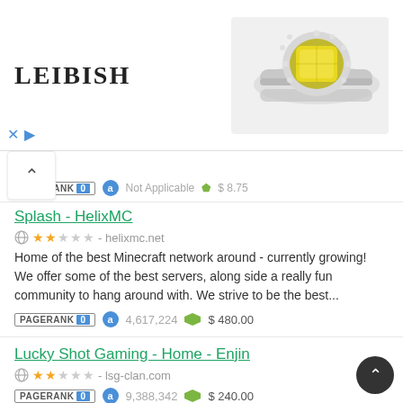[Figure (screenshot): Leibish jewelry advertisement banner with logo and diamond ring image]
Splash - HelixMC | helixmc.net | 2 stars | PageRank 0 | Alexa 4,617,224 | $480.00 | Home of the best Minecraft network around - currently growing! We offer some of the best servers, along side a really fun community to hang around with. We strive to be the best...
Lucky Shot Gaming - Home - Enjin | lsg-clan.com | 2 stars | PageRank 0 | Alexa 9,388,342 | $240.00
Mobile - AceCaligo - Community Website | acecaligo.com | 2 stars | PageRank 0 | Not Applicable | $8.95